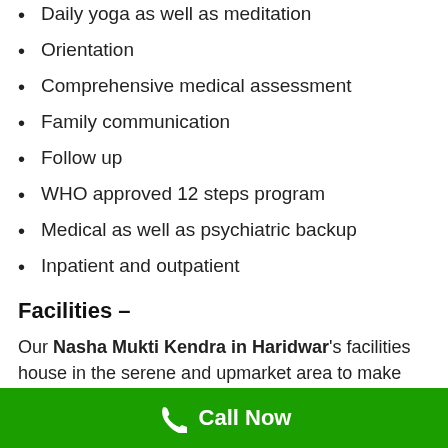Daily yoga as well as meditation
Orientation
Comprehensive medical assessment
Family communication
Follow up
WHO approved 12 steps program
Medical as well as psychiatric backup
Inpatient and outpatient
Facilities –
Our Nasha Mukti Kendra in Haridwar's facilities house in the serene and upmarket area to make your stay
Call Now